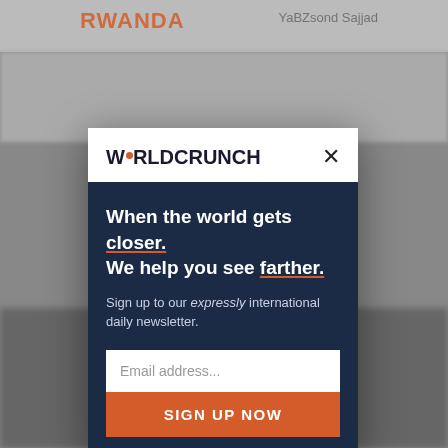RWANDA
YaBZsond Sajjad
[Figure (screenshot): Blurred background of a WorldCrunch website with article content visible]
WORLDCRUNCH
When the world gets closer. We help you see farther.
Sign up to our expressly international daily newsletter.
Email address...
SIGN UP NOW